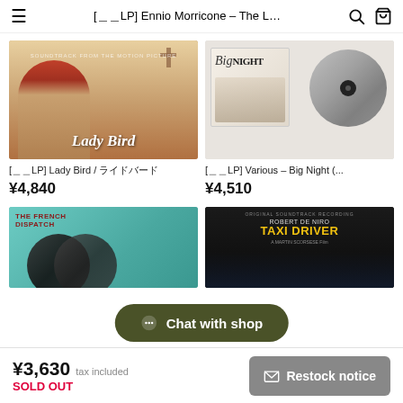[??LP] Ennio Morricone – The L…
[Figure (photo): Lady Bird movie soundtrack album cover showing a red-haired woman in profile with a cross in background, text 'Lady Bird']
[??LP] Lady Bird / ????????
¥4,840
[Figure (photo): Big Night soundtrack album cover showing the film cover with a vinyl record disc displayed next to it]
[??LP] Various – Big Night (...
¥4,510
[Figure (photo): The French Dispatch album cover with teal/turquoise background]
[Figure (photo): Taxi Driver soundtrack album cover with dark background, Robert De Niro text, yellow title]
Chat with shop
¥3,630  tax included
SOLD OUT
Restock notice